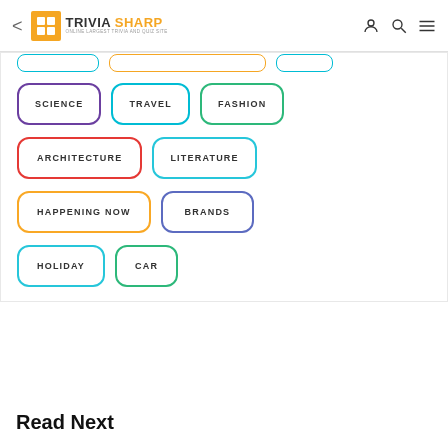Trivia Sharp — Online Largest Trivia and Quiz Site
[Figure (infographic): Category tag buttons grid with labels: SCIENCE (blue/purple border), TRAVEL (teal border), FASHION (green border), ARCHITECTURE (red border), LITERATURE (teal border), HAPPENING NOW (yellow border), BRANDS (purple border), HOLIDAY (teal border), CAR (green border)]
Read Next